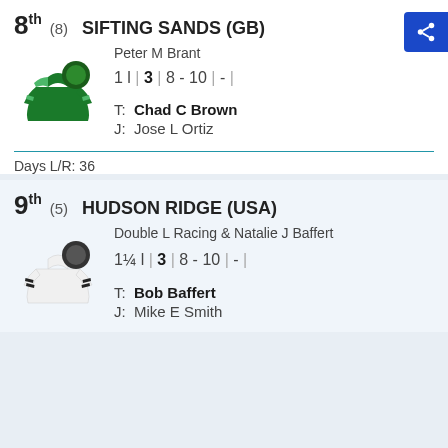8th (8) SIFTING SANDS (GB)
Peter M Brant
[Figure (illustration): Green jockey silks with lighter green shoulder stripe and black cap with green circle]
1 l | 3 | 8 - 10 | - |
T: Chad C Brown
J: Jose L Ortiz
Days L/R: 36
9th (5) HUDSON RIDGE (USA)
Double L Racing & Natalie J Baffert
[Figure (illustration): White jockey silks with black horizontal stripes on sleeves and black circle cap]
1¼ l | 3 | 8 - 10 | - |
T: Bob Baffert
J: Mike E Smith